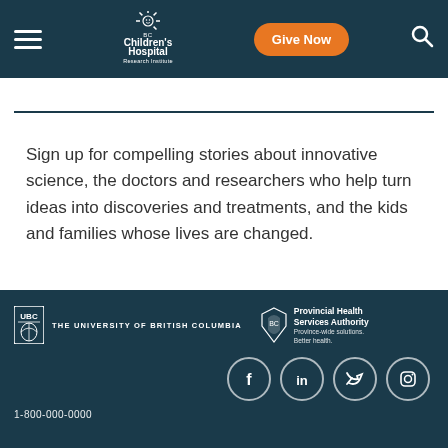BC Children's Hospital Research Institute — Give Now
Sign up for compelling stories about innovative science, the doctors and researchers who help turn ideas into discoveries and treatments, and the kids and families whose lives are changed.
[Figure (screenshot): Email address input field with orange Subscribe button]
THE UNIVERSITY OF BRITISH COLUMBIA | Provincial Health Services Authority — Province-wide solutions. Better health. | Facebook | LinkedIn | Twitter | Instagram | 1-800-000-0000